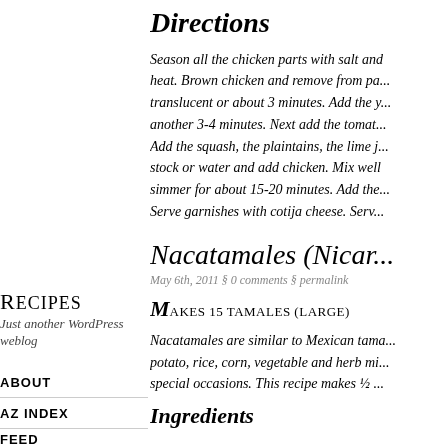Directions
Season all the chicken parts with salt and heat. Brown chicken and remove from pa... translucent or about 3 minutes. Add the y... another 3-4 minutes. Next add the tomat... Add the squash, the plaintains, the lime j... stock or water and add chicken. Mix well simmer for about 15-20 minutes. Add the... Serve garnishes with cotija cheese. Serv...
RECIPES
Just another WordPress weblog
ABOUT
AZ INDEX
FEED
Nacatamales (Nicar...
May 6th, 2011 § 0 comments § permalink
Makes 15 tamales (large)
Nacatamales are similar to Mexican tama... potato, rice, corn, vegetable and herb mi... special occasions. This recipe makes ½ ...
Ingredients